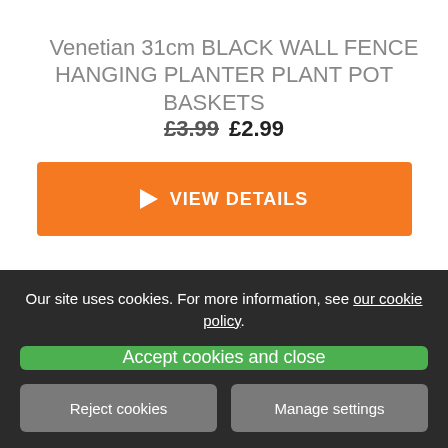Venetian 31cm BLACK WALL FENCE HANGING PLANTER PLANT POT BASKETS
£3.99 £2.99
▶ VIEW DETAILS
Our site uses cookies. For more information, see our cookie policy.
Accept cookies and close
Reject cookies
Manage settings